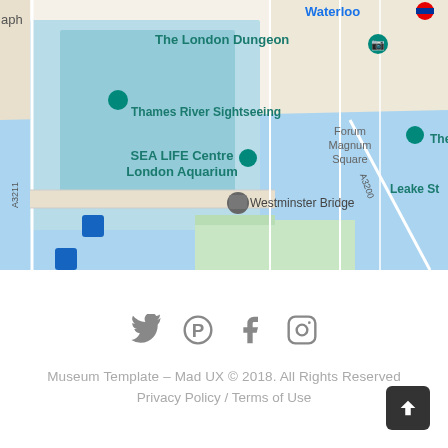[Figure (map): Google Maps view showing Thames River area in London, including The London Dungeon, Thames River Sightseeing, SEA LIFE Centre London Aquarium, Westminster Bridge, Florence Nightingale Museum, Park Plaza Westminster Bridge London, Leake St, Forum Magnum Square, Waterloo station marker, and road labels A3211, A3200.]
[Figure (other): Social media icons: Twitter, Pinterest, Facebook, Instagram — displayed in gray]
Museum Template – Mad UX © 2018. All Rights Reserved
Privacy Policy / Terms of Use